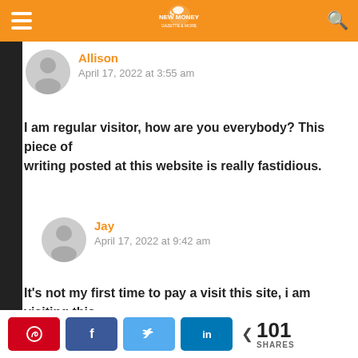New Money (logo) — navigation header with hamburger menu and search icon
Allison
April 17, 2022 at 3:55 am
I am regular visitor, how are you everybody? This piece of writing posted at this website is really fastidious.
Jay
April 17, 2022 at 9:42 am
It's not my first time to pay a visit this site, i am visiting this web site dailly and take nice information from here
Share buttons: Pinterest, Facebook, Twitter, LinkedIn — 101 SHARES